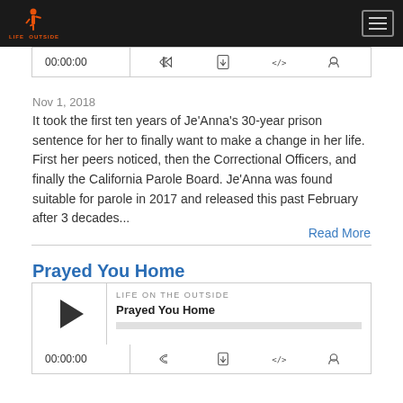LIFE ON THE OUTSIDE
[Figure (screenshot): Podcast player bar showing 00:00:00 timestamp with RSS, download, embed, and headphone icons]
Nov 1, 2018
It took the first ten years of Je'Anna's 30-year prison sentence for her to finally want to make a change in her life.  First her peers noticed, then the Correctional Officers, and finally the California Parole Board. Je'Anna was found suitable for parole in 2017 and released this past February after 3 decades...
Read More
Prayed You Home
[Figure (screenshot): Podcast player for 'Prayed You Home' episode of Life On The Outside with play button and progress bar]
[Figure (screenshot): Podcast player bar showing 00:00:00 timestamp with RSS, download, embed, and headphone icons]